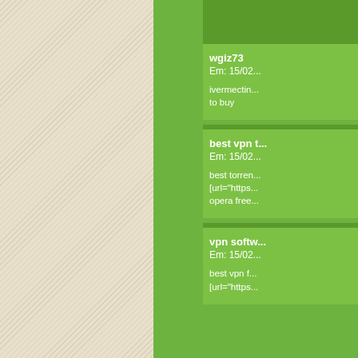[Figure (screenshot): Left beige diagonal striped panel]
[Figure (screenshot): Center green panel]
wgiz73
Em: 15/02...
ivermectin... to buy
best vpn t...
Em: 15/02...
best torren... [url="https... opera free...
vpn softw...
Em: 15/02...
best vpn f... [url="https...